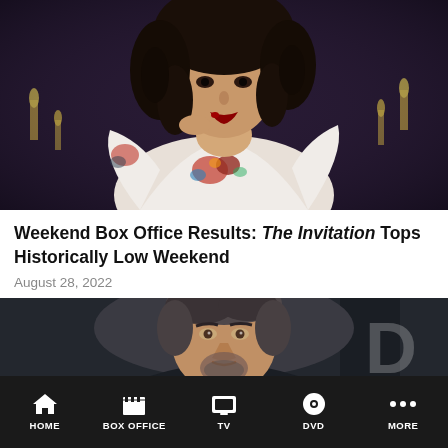[Figure (photo): A woman in a white embroidered dress with dark curly hair, appearing in a horror film scene with blood near her mouth, dark atmospheric background with candles]
Weekend Box Office Results: The Invitation Tops Historically Low Weekend
August 28, 2022
[Figure (photo): A middle-aged man with salt-and-pepper hair and goatee at what appears to be a film premiere or event, with Walking Dead logo visible in background]
HOME  BOX OFFICE  TV  DVD  MORE